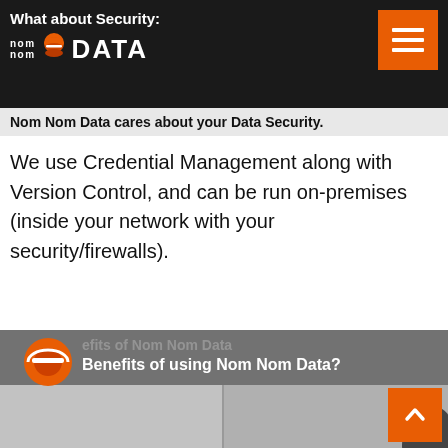What about Security: Nom Nom DATA
Nom Nom Data cares about your Data Security.
We use Credential Management along with Version Control, and can be run on-premises (inside your network with your security/firewalls).
[Figure (screenshot): Video thumbnail showing 'Benefits of using Nom Nom Data?' with Nom Nom Data logo icon and ghost title text overlay, over a video frame with two panels and a person visible at right edge.]